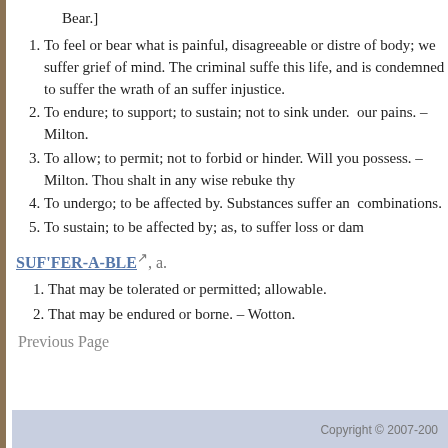Bear.]
To feel or bear what is painful, disagreeable or distressable of body; we suffer grief of mind. The criminal suffers in this life, and is condemned to suffer the wrath of an suffer injustice.
To endure; to support; to sustain; not to sink under. our pains. – Milton.
To allow; to permit; not to forbid or hinder. Will you possess. – Milton. Thou shalt in any wise rebuke thy
To undergo; to be affected by. Substances suffer an combinations.
To sustain; to be affected by; as, to suffer loss or damage.
SUF'FER-A-BLE, a.
That may be tolerated or permitted; allowable.
That may be endured or borne. – Wotton.
Previous Page
Copyright © 2007-200